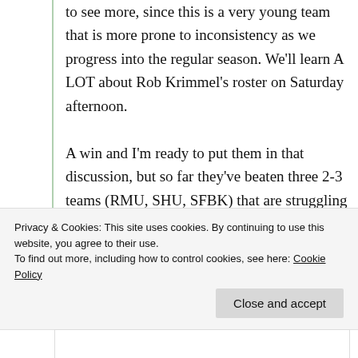to see more, since this is a very young team that is more prone to inconsistency as we progress into the regular season. We'll learn A LOT about Rob Krimmel's roster on Saturday afternoon.

A win and I'm ready to put them in that discussion, but so far they've beaten three 2-3 teams (RMU, SHU, SFBK) that are struggling in their own way.
Privacy & Cookies: This site uses cookies. By continuing to use this website, you agree to their use. To find out more, including how to control cookies, see here: Cookie Policy